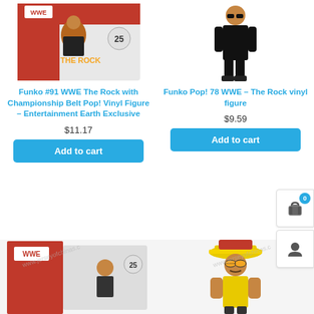[Figure (photo): Funko #91 WWE The Rock with Championship Belt Pop! Vinyl Figure product image]
[Figure (photo): Funko Pop! 78 WWE The Rock vinyl figure product image]
Funko #91 WWE The Rock with Championship Belt Pop! Vinyl Figure – Entertainment Earth Exclusive
$11.17
Add to cart
Funko Pop! 78 WWE – The Rock vinyl figure
$9.59
Add to cart
[Figure (photo): WWE Funko Pop figure product box bottom left]
[Figure (photo): Macho Man Randy Savage style Funko figure with hat and sunglasses bottom right]